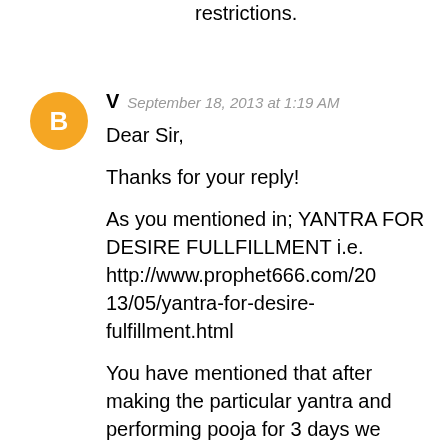restrictions.
V  September 18, 2013 at 1:19 AM
Dear Sir,

Thanks for your reply!

As you mentioned in; YANTRA FOR DESIRE FULLFILLMENT i.e. http://www.prophet666.com/2013/05/yantra-for-desire-fulfillment.html

You have mentioned that after making the particular yantra and performing pooja for 3 days we have to wear in a locket around neck.